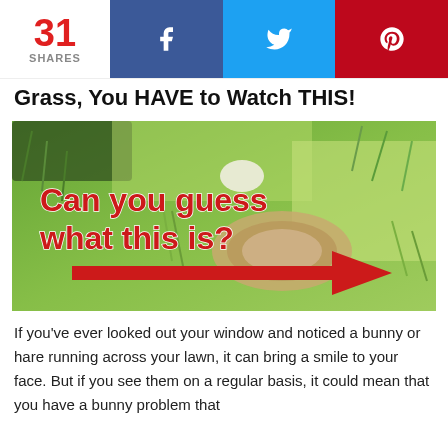31 SHARES | f | y | p
Grass, You HAVE to Watch THIS!
[Figure (photo): Close-up photo of grass with a bare patch/nest visible. Red bold text overlay reads 'Can you guess what this is?' and a red arrow points to the bare patch in the grass.]
If you've ever looked out your window and noticed a bunny or hare running across your lawn, it can bring a smile to your face. But if you see them on a regular basis, it could mean that you have a bunny problem that